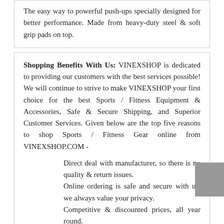The easy way to powerful push-ups specially designed for better performance. Made from heavy-duty steel & soft grip pads on top.
Shopping Benefits With Us: VINEXSHOP is dedicated to providing our customers with the best services possible! We will continue to strive to make VINEXSHOP your first choice for the best Sports / Fitness Equipment & Accessories, Safe & Secure Shipping, and Superior Customer Services. Given below are the top five reasons to shop Sports / Fitness Gear online from VINEXSHOP.COM -
Direct deal with manufacturer, so there is no quality & return issues.
Online ordering is safe and secure with us, we always value your privacy.
Competitive & discounted prices, all year round.
Fast, Safe & Secure Shipping (All Over India).
Easy & customer friendly return / refund policies.
About VINEX: Vinex Enterprises Pvt. Ltd. with its leading